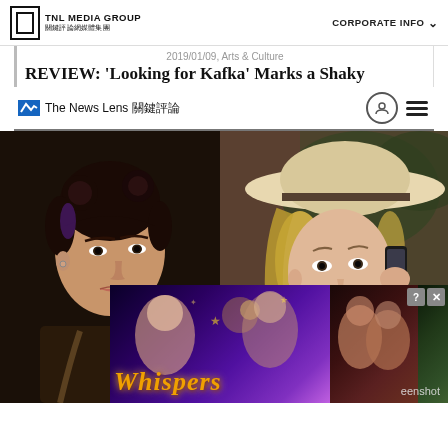TNL MEDIA GROUP 關鍵評論網媒體集團 | CORPORATE INFO
2019/01/09, Arts & Culture
REVIEW: 'Looking for Kafka' Marks a Shaky
The News Lens 關鍵評論
[Figure (screenshot): Screenshot of The News Lens article page showing two women — one Asian woman with dark hair buns, one blonde woman wearing a wide-brimmed light hat talking on a phone — with a 'Whispers' game advertisement overlay at the bottom]
eenshot